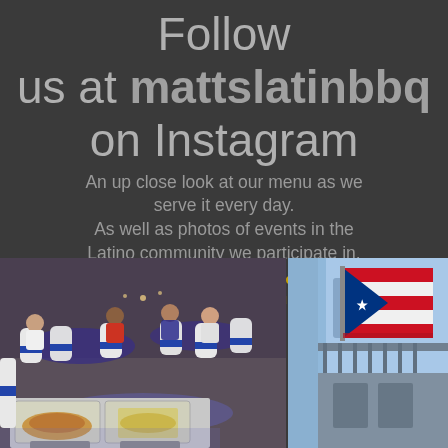Follow us at mattslatinbbq on Instagram
An up close look at our menu as we serve it every day. As well as photos of events in the Latino community we participate in.
Hover over pics to read captions and descriptions. Pase el cursor sobre las fotos para leer subtítulos y descripciones.
[Figure (photo): Left: indoor event/catering scene with people seated at round tables with white tablecloths and blue chair sashes, aluminum food trays in foreground with food. Right: Puerto Rican flag hanging from a blue building exterior.]